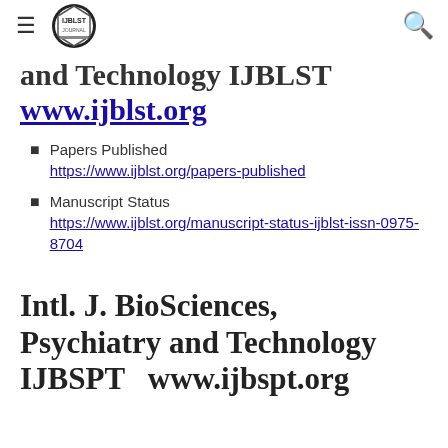≡ [IJBLST logo] 🔍
and Technology IJBLST www.ijblst.org
Papers Published https://www.ijblst.org/papers-published
Manuscript Status https://www.ijblst.org/manuscript-status-ijblst-issn-0975-8704
Intl. J. BioSciences, Psychiatry and Technology IJBSPT  www.ijbspt.org